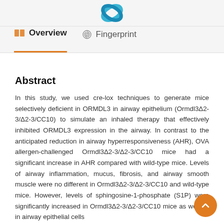[Figure (logo): Teal/blue circular logo at top center]
Overview   Fingerprint
Abstract
In this study, we used cre-lox techniques to generate mice selectively deficient in ORMDL3 in airway epithelium (Ormdl3Δ2-3/Δ2-3/CC10) to simulate an inhaled therapy that effectively inhibited ORMDL3 expression in the airway. In contrast to the anticipated reduction in airway hyperresponsiveness (AHR), OVA allergen-challenged Ormdl3Δ2-3/Δ2-3/CC10 mice had a significant increase in AHR compared with wild-type mice. Levels of airway inflammation, mucus, fibrosis, and airway smooth muscle were no different in Ormdl3Δ2-3/Δ2-3/CC10 and wild-type mice. However, levels of sphingosine-1-phosphate (S1P) were significantly increased in Ormdl3Δ2-3/Δ2-3/CC10 mice as well as in airway epithelial cells